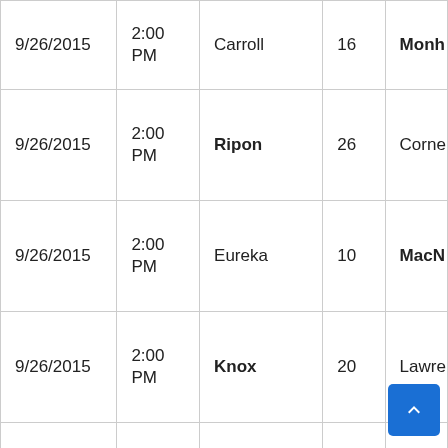| Date | Time | Team | Score | Opponent |
| --- | --- | --- | --- | --- |
| 9/26/2015 | 2:00 PM | Carroll | 16 | Monh… |
| 9/26/2015 | 2:00 PM | Ripon | 26 | Corne… |
| 9/26/2015 | 2:00 PM | Eureka | 10 | MacM… |
| 9/26/2015 | 2:00 PM | Knox | 20 | Lawre… |
| 9/26/2015 | 2:00 PM | Northwestern (MN) | 55 | Marti… |
| 9/26/2015 | 2:00 PM | St. Norbert | 21 | Illinois College |
| 9/26/2015 | 2:00 |  |  |  |